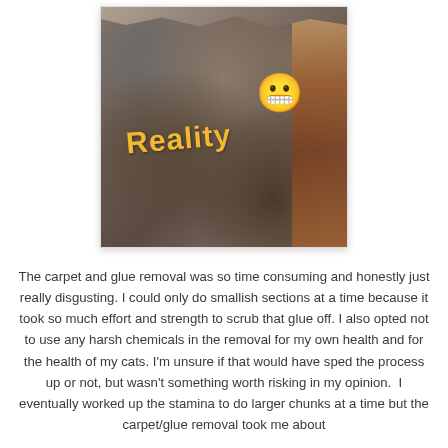[Figure (photo): Photo of dirty, worn carpet pulled back showing glue underneath, with the word 'Reality' in yellow bold text overlaid, and a grimacing emoji face in the upper right of the image.]
The carpet and glue removal was so time consuming and honestly just really disgusting. I could only do smallish sections at a time because it took so much effort and strength to scrub that glue off. I also opted not to use any harsh chemicals in the removal for my own health and for the health of my cats. I'm unsure if that would have sped the process up or not, but wasn't something worth risking in my opinion.  I eventually worked up the stamina to do larger chunks at a time but the carpet/glue removal took me about